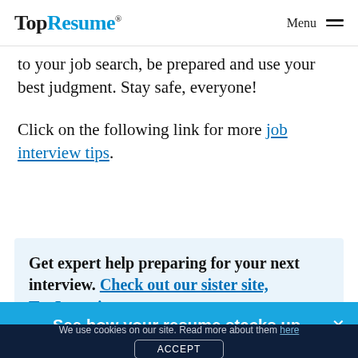TopResume® Menu
to your job search, be prepared and use your best judgment. Stay safe, everyone!
Click on the following link for more job interview tips.
Get expert help preparing for your next interview. Check out our sister site, TopInterview.
See how your resume stacks up.
We use cookies on our site. Read more about them here ACCEPT